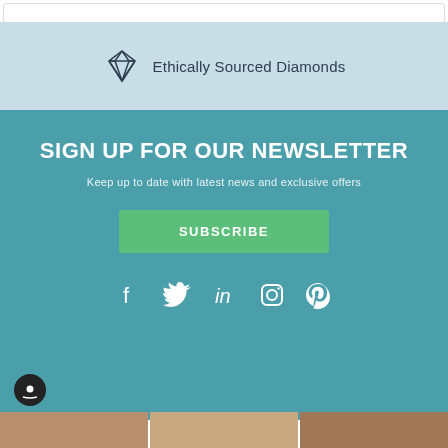[Figure (illustration): Diamond icon with label 'Ethically Sourced Diamonds' on a light blue background]
SIGN UP FOR OUR NEWSLETTER
Keep up to date with latest news and exclusive offers
SUBSCRIBE
[Figure (illustration): Social media icons: Facebook, Twitter, LinkedIn, Instagram, Pinterest in white on teal background]
[Figure (photo): Partial photo strip at the bottom of the page showing wooden/jewellery items]